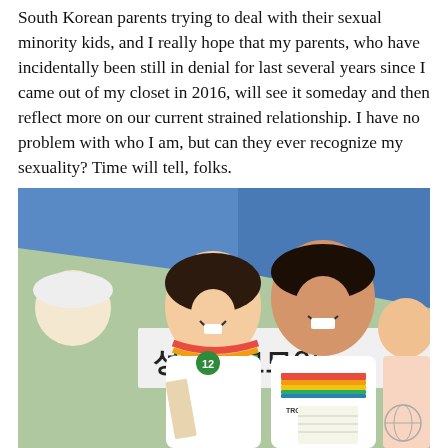South Korean parents trying to deal with their sexual minority kids, and I really hope that my parents, who have incidentally been still in denial for last several years since I came out of my closet in 2016, will see it someday and then reflect more on our current strained relationship. I have no problem with who I am, but can they ever recognize my sexuality? Time will tell, folks.
[Figure (photo): Two smiling people in white t-shirts at what appears to be a Pride event. The woman on the left is laughing and wearing a rainbow scarf, holding materials. The man on the right wears a shirt reading 'Troojoon Place'. In the background is a blue tent and a banner with Korean text reading '성소부모모임' (PFLAG-type parent group). Other people are visible in the background.]